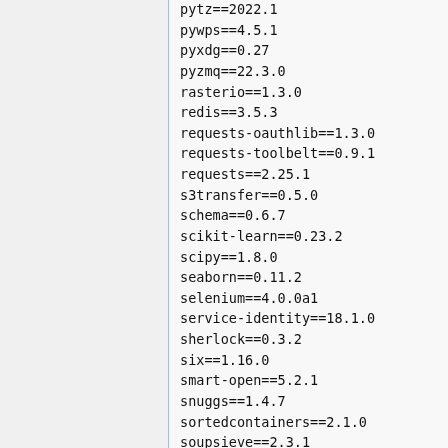pytz==2022.1
pywps==4.5.1
pyxdg==0.27
pyzmq==22.3.0
rasterio==1.3.0
redis==3.5.3
requests-oauthlib==1.3.0
requests-toolbelt==0.9.1
requests==2.25.1
s3transfer==0.5.0
schema==0.6.7
scikit-learn==0.23.2
scipy==1.8.0
seaborn==0.11.2
selenium==4.0.0a1
service-identity==18.1.0
sherlock==0.3.2
six==1.16.0
smart-open==5.2.1
snuggs==1.4.7
sortedcontainers==2.1.0
soupsieve==2.3.1
sqlparse==0.4.2
sympy==1.9
systemd-python==234